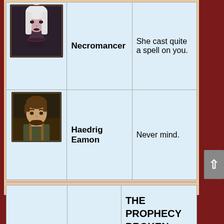| Portrait | Name | Quote |
| --- | --- | --- |
| [Necromancer portrait] | Necromancer | She cast quite a spell on you. |
| [Haedrig Eamon portrait] | Haedrig Eamon | Never mind. |
| Portrait | Name | Title |
| --- | --- | --- |
|  |  | THE PROPHECY BROKEN |
| [portrait thumbnail] |  |  |